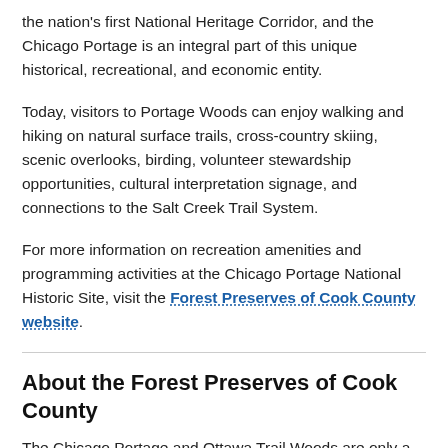the nation's first National Heritage Corridor, and the Chicago Portage is an integral part of this unique historical, recreational, and economic entity.
Today, visitors to Portage Woods can enjoy walking and hiking on natural surface trails, cross-country skiing, scenic overlooks, birding, volunteer stewardship opportunities, cultural interpretation signage, and connections to the Salt Creek Trail System.
For more information on recreation amenities and programming activities at the Chicago Portage National Historic Site, visit the Forest Preserves of Cook County website.
About the Forest Preserves of Cook County
The Chicago Portage and Ottawa Trail Woods are only a fraction of the nearly 70,000 acres within the Forest Preserves of Cook County.